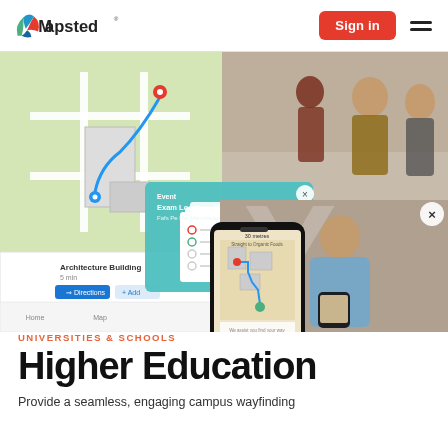Mapsted | Sign in
[Figure (screenshot): Composite hero image showing a campus wayfinding app with map navigation, a popup showing Architecture Building 5 min with Directions and Add buttons, and an exam location chooser overlay. Also shows photos of university students walking in campus halls and corridors, a student looking at smartphone with the Mapsted app showing indoor navigation route, and a close button X icon. Bottom area shows a large background Y letter watermark.]
UNIVERSITIES & SCHOOLS
Higher Education
Provide a seamless, engaging campus wayfinding